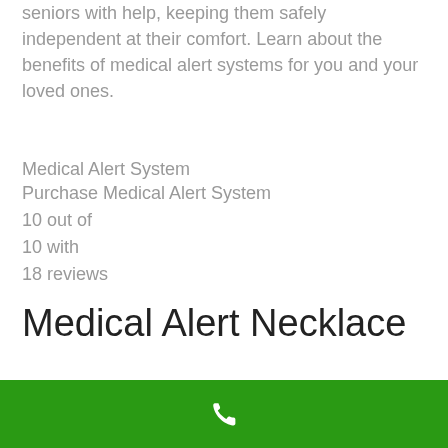seniors with help, keeping them safely independent at their comfort. Learn about the benefits of medical alert systems for you and your loved ones.
Medical Alert System
Purchase Medical Alert System
10 out of
10 with
18 reviews
Medical Alert Necklace
Millions of individuals suffer from a number of
[Figure (other): Green navigation bar with white phone/call icon at the bottom of the screen]